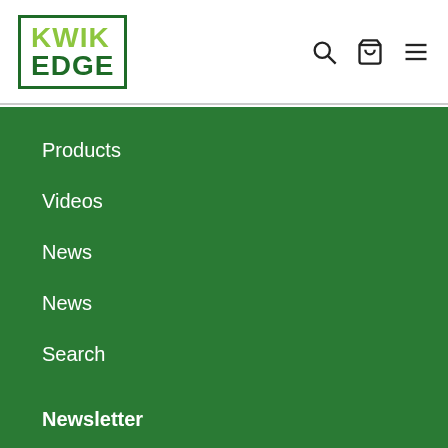[Figure (logo): Kwik Edge logo in green bordered box]
Products
Videos
News
News
Search
Newsletter